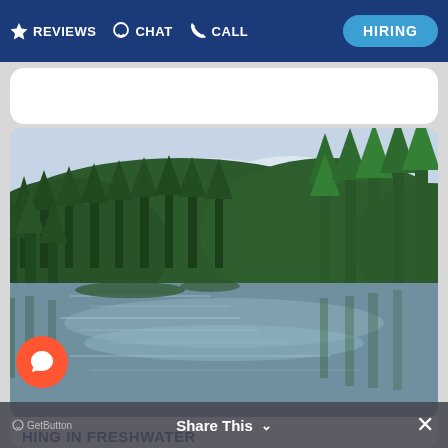REVIEWS  CHAT  CALL  HIRING
[Figure (photo): A calm freshwater river or lake surrounded by dense green coniferous forest, with reflections of trees on the water surface and cloudy sky above.]
HING IN FRESHWATER
mpared to ocean fishing, freshwater fishing is a lot easier to get into since it doesn't require a lot of
GetButton  Share This  ×